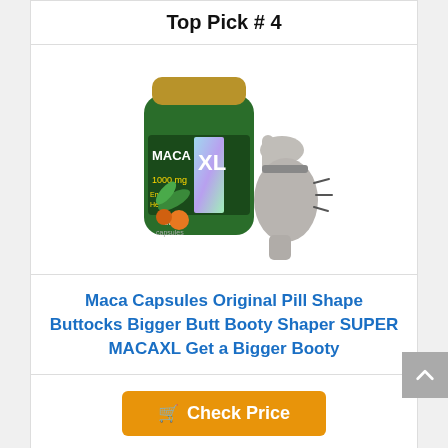Top Pick # 4
[Figure (photo): Product photo: Maca XL 1000mg Energizing Herbs 60 capsules supplement bottle with gold lid, next to a woman in gray activewear showing buttock enhancement effect with motion lines]
Maca Capsules Original Pill Shape Buttocks Bigger Butt Booty Shaper SUPER MACAXL Get a Bigger Booty
Check Price
Top Pick # 5